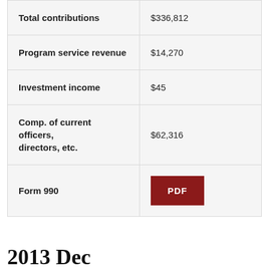| Total contributions | $336,812 |
| Program service revenue | $14,270 |
| Investment income | $45 |
| Comp. of current officers, directors, etc. | $62,316 |
| Form 990 | PDF |
2013 Dec
| Form Type | Form 990 |
| Total revenue | $343,015 |